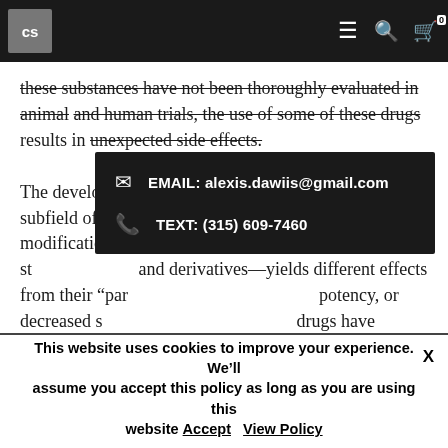CS [logo] EMAIL: alexis.dawiis@gmail.com TEXT: (315) 609-7460
these substances have not been thoroughly evaluated in animal and human trials, the use of some of these drugs results in unexpected side effects. The development of designer drugs may be considered a subfield of drug design. The exploration of modifications to known active drugs—such as their stereochemistry and derivatives—yields different effects from their "parent" drugs, such as higher potency, or decreased side effects. Some designer drugs have similar effects to other known drugs, but have completely dissimilar chemical structures (e.g. JWH-018 vs THC). Despite being a very broad term, applicable to almost every synthetic drug, it is often used to connote synthetic recreational drugs, sometimes even those which have not been designed at all
This website uses cookies to improve your experience. We'll assume you accept this policy as long as you are using this website Accept View Policy